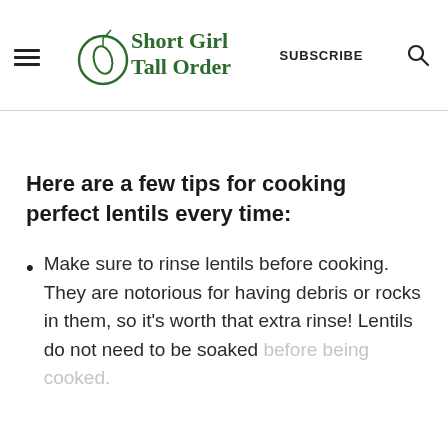ShortGirl TallOrder — SUBSCRIBE
Here are a few tips for cooking perfect lentils every time:
Make sure to rinse lentils before cooking. They are notorious for having debris or rocks in them, so it's worth that extra rinse! Lentils do not need to be soaked before being cooked.